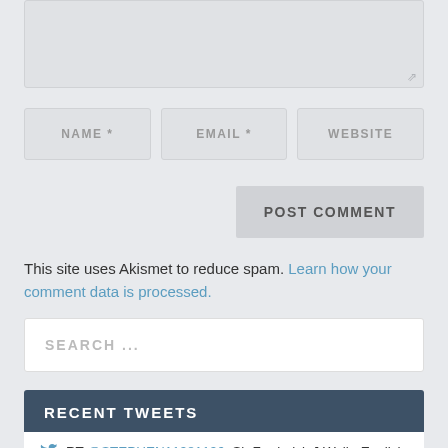[Figure (screenshot): Textarea input box (comment field) with resize handle in bottom-right corner, on light gray background]
NAME *    EMAIL *    WEBSITE
POST COMMENT
This site uses Akismet to reduce spam. Learn how your comment data is processed.
SEARCH ...
RECENT TWEETS
RT @STEPHEN11981196: Sir Frederick J Wall - English FA Secretary 1895 - 1934 The man who signed the